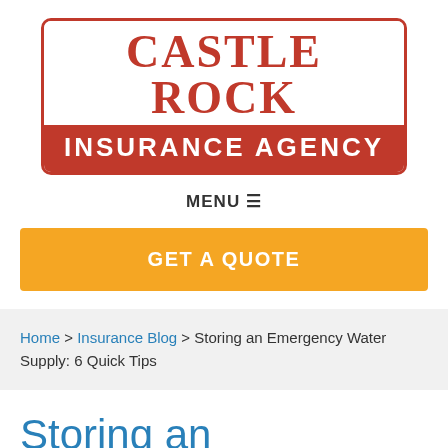[Figure (logo): Castle Rock Insurance Agency logo with red border, red serif text 'CASTLE ROCK' on white background, and white bold text 'INSURANCE AGENCY' on red background]
MENU ≡
GET A QUOTE
Home > Insurance Blog > Storing an Emergency Water Supply: 6 Quick Tips
Storing an